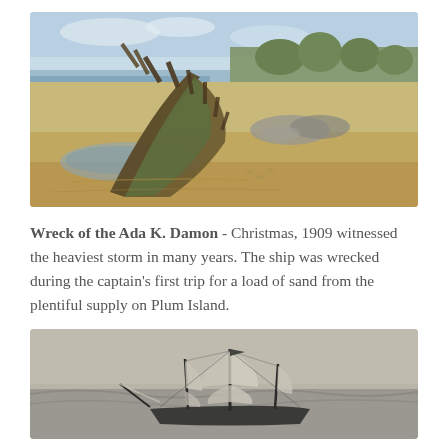[Figure (photo): Photograph of a shipwreck on a sandy beach. The wooden hull of a wrecked vessel is partially buried in sand, with rotting timber ribs protruding upward. Water pools around the wreck. A forested hill is visible in the background under a pale blue sky.]
Wreck of the Ada K. Damon - Christmas, 1909 witnessed the heaviest storm in many years. The ship was wrecked during the captain's first trip for a load of sand from the plentiful supply on Plum Island.
[Figure (illustration): Black and white illustration or engraving of a tall sailing ship with multiple masts and sails at sea.]